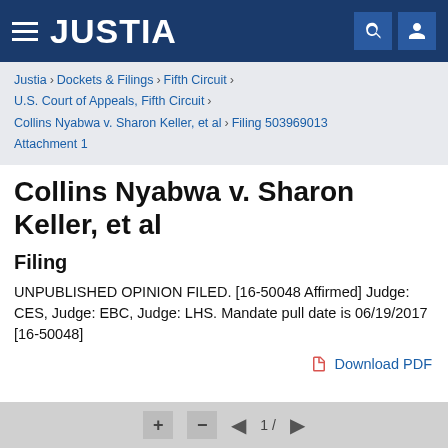JUSTIA
Justia › Dockets & Filings › Fifth Circuit › U.S. Court of Appeals, Fifth Circuit › Collins Nyabwa v. Sharon Keller, et al › Filing 503969013 Attachment 1
Collins Nyabwa v. Sharon Keller, et al
Filing
UNPUBLISHED OPINION FILED. [16-50048 Affirmed] Judge: CES, Judge: EBC, Judge: LHS. Mandate pull date is 06/19/2017 [16-50048]
Download PDF